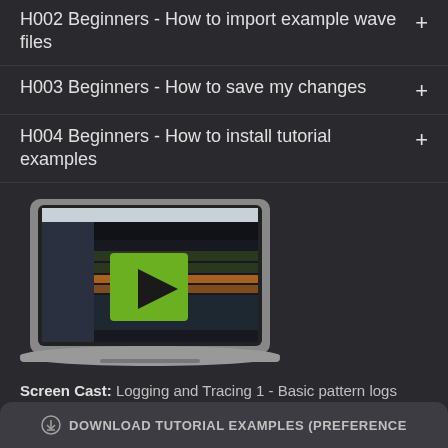H002 Beginners - How to import example wave files
H003 Beginners - How to save my changes
H004 Beginners - How to install tutorial examples
[Figure (screenshot): Laptop showing a software interface with a green play button overlay, depicting a tutorial screencast]
Screen Cast: Logging and Tracing 1 - Basic pattern logs
DOWNLOAD TUTORIAL EXAMPLES (PREFERENCE